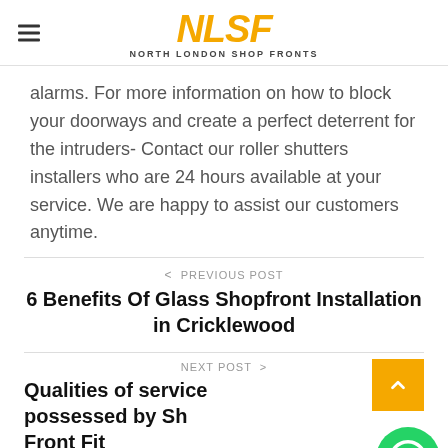NLSF — NORTH LONDON SHOP FRONTS
alarms. For more information on how to block your doorways and create a perfect deterrent for the intruders- Contact our roller shutters installers who are 24 hours available at your service. We are happy to assist our customers anytime.
< PREVIOUS POST
6 Benefits Of Glass Shopfront Installation in Cricklewood
NEXT POST >
Qualities of service possessed by Sh… Front Fit